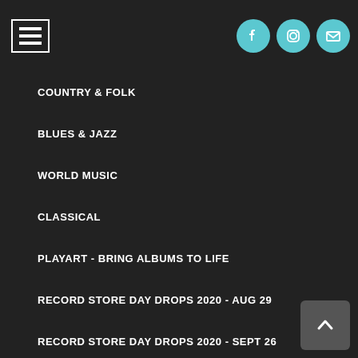Navigation menu with hamburger icon and social media icons (Facebook, Instagram, Email)
COUNTRY & FOLK
BLUES & JAZZ
WORLD MUSIC
CLASSICAL
PLAYART - BRING ALBUMS TO LIFE
RECORD STORE DAY DROPS 2020 - AUG 29
RECORD STORE DAY DROPS 2020 - SEPT 26
RECORD STORE DAY DROPS 2020 - OCT 24
HOLIDAY MUSIC
TEN BANDS ONE CAUSE 2022